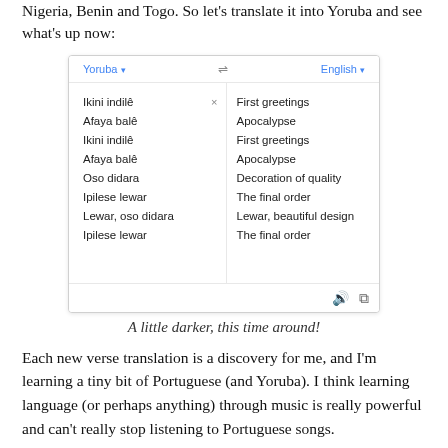Nigeria, Benin and Togo. So let's translate it into Yoruba and see what's up now:
[Figure (screenshot): Google Translate screenshot showing Yoruba to English translation. Left side (Yoruba): 'Ikini indilê', 'Afaya balê', 'Ikini indilê', 'Afaya balê', 'Oso didara', 'Ipilese lewar', 'Lewar, oso didara', 'Ipilese lewar'. Right side (English): 'First greetings', 'Apocalypse', 'First greetings', 'Apocalypse', 'Decoration of quality', 'The final order', 'Lewar, beautiful design', 'The final order'.]
A little darker, this time around!
Each new verse translation is a discovery for me, and I'm learning a tiny bit of Portuguese (and Yoruba). I think learning language (or perhaps anything) through music is really powerful and can't really stop listening to Portuguese songs.
And hey, the drumming on these songs is pretty amazing